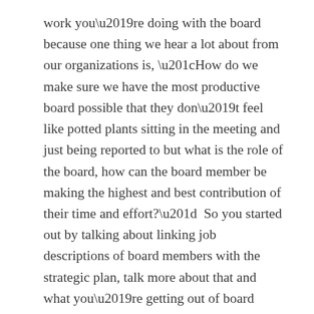work you're doing with the board because one thing we hear a lot about from our organizations is, “How do we make sure we have the most productive board possible that they don’t feel like potted plants sitting in the meeting and just being reported to but what is the role of the board, how can the board member be making the highest and best contribution of their time and effort?”  So you started out by talking about linking job descriptions of board members with the strategic plan, talk more about that and what you’re getting out of board members as a result.